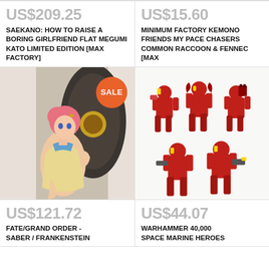US$209.25
SAEKANO: HOW TO RAISE A BORING GIRLFRIEND FLAT MEGUMI KATO LIMITED EDITION [MAX FACTORY]
US$15.60
MINIMUM FACTORY KEMONO FRIENDS MY PACE CHASERS COMMON RACCOON & FENNEC [MAX
[Figure (photo): Anime figure of a girl with pink hair in a light outfit, with a SALE badge overlay]
[Figure (photo): Warhammer 40,000 Space Marine Heroes red armored miniatures, 5 figures arranged in two rows]
US$121.72
FATE/GRAND ORDER - SABER / FRANKENSTEIN
US$44.07
WARHAMMER 40,000 SPACE MARINE HEROES